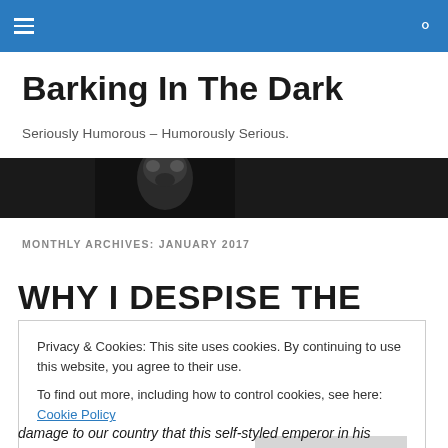Navigation bar with menu and search icons
Barking In The Dark
Seriously Humorous – Humorously Serious.
[Figure (photo): Dark hero image showing a partial face silhouette against black background]
MONTHLY ARCHIVES: JANUARY 2017
WHY I DESPISE THE
Privacy & Cookies: This site uses cookies. By continuing to use this website, you agree to their use.
To find out more, including how to control cookies, see here: Cookie Policy
damage to our country that this self-styled emperor in his…